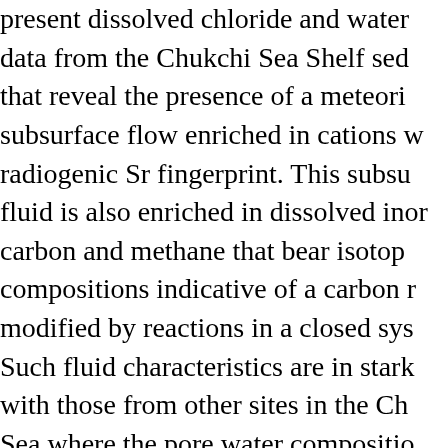present dissolved chloride and water data from the Chukchi Sea Shelf sediments that reveal the presence of a meteoric subsurface flow enriched in cations with a radiogenic Sr fingerprint. This subsurface fluid is also enriched in dissolved inorganic carbon and methane that bear isotopic compositions indicative of a carbon reservoir modified by reactions in a closed system. Such fluid characteristics are in stark contrast with those from other sites in the Chukchi Sea where the pore water compositions show no sign of meteoric input, but reflect the biogeochemical reactions associated with early diagenetic sequences in marine sediment. The most likely source of the observed subsurface flow at the Chukchi Shelf is from the degradation of permafrost that had extended to the shelf region during the Last Glacial Maximum. Our data suggest that the permafrost-driven subsurface flow most likely took place during the 2-3 ka warming in the Early Holocene Therm...